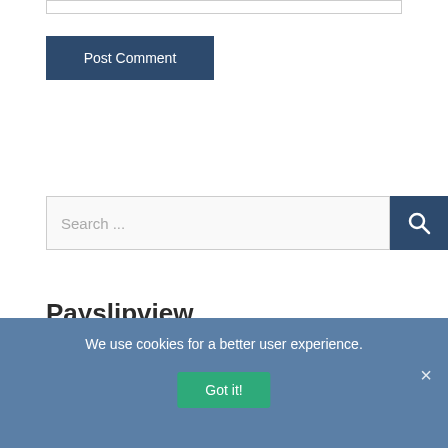[Figure (screenshot): A partial input text field (top of page, cut off)]
[Figure (screenshot): Post Comment button with dark navy background]
[Figure (screenshot): Search bar with placeholder text 'Search ...' and navy search button with magnifying glass icon]
Payslipview
Tags: Payslip...
We use cookies for a better user experience.
[Figure (screenshot): Got it! green button inside cookie consent banner]
×